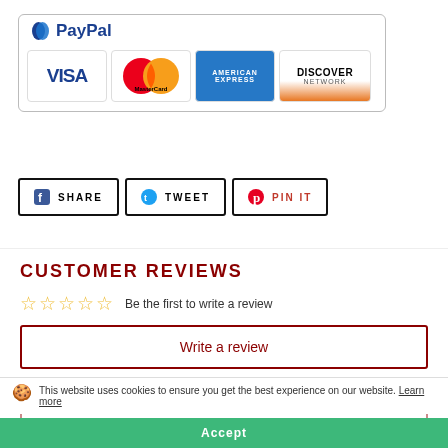[Figure (logo): PayPal logo with payment method logos: VISA, MasterCard, American Express, Discover]
[Figure (infographic): Social sharing buttons: Facebook SHARE, Twitter TWEET, Pinterest PIN IT]
CUSTOMER REVIEWS
☆☆☆☆☆  Be the first to write a review
Write a review
Ask a question
This website uses cookies to ensure you get the best experience on our website. Learn more